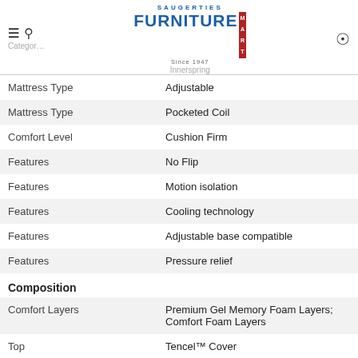Saugerties Furniture Mart - Category / Mattress Type / Innerspring
| Category | Value |
| --- | --- |
| Mattress Type | Adjustable |
| Mattress Type | Pocketed Coil |
| Comfort Level | Cushion Firm |
| Features | No Flip |
| Features | Motion isolation |
| Features | Cooling technology |
| Features | Adjustable base compatible |
| Features | Pressure relief |
| Composition |  |
| Comfort Layers | Premium Gel Memory Foam Layers; Comfort Foam Layers |
| Top | Tencel™ Cover |
| Construction |  |